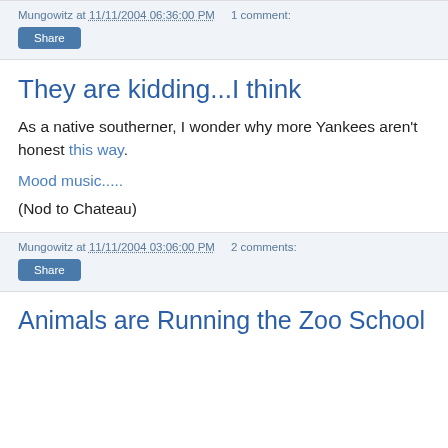Mungowitz at 11/11/2004 06:36:00 PM   1 comment:
Share
They are kidding...I think
As a native southerner, I wonder why more Yankees aren't honest this way.
Mood music.....
(Nod to Chateau)
Mungowitz at 11/11/2004 03:06:00 PM   2 comments:
Share
Animals are Running the Zoo School